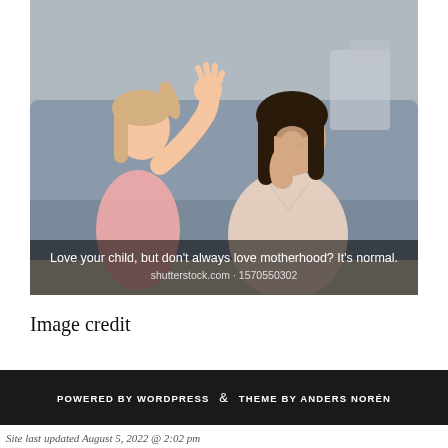[Figure (photo): A woman sitting on a couch with her head resting in her hand looking stressed, while a young girl in pink stands nearby gesturing with her hand. An overlay text reads: 'Love your child, but don't always love motherhood? It's normal.' with a shutterstock watermark: shutterstock.com · 1570550302]
Image credit
POWERED BY WORDPRESS & THEME BY ANDERS NORÉN
Site last updated August 5, 2022 @ 2:02 pm